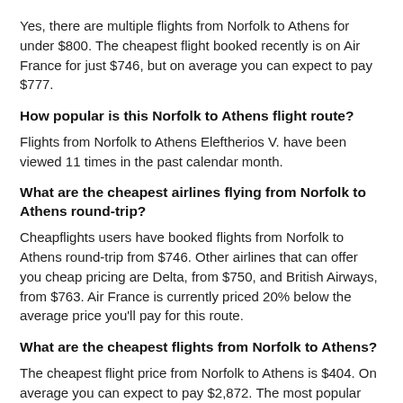Yes, there are multiple flights from Norfolk to Athens for under $800. The cheapest flight booked recently is on Air France for just $746, but on average you can expect to pay $777.
How popular is this Norfolk to Athens flight route?
Flights from Norfolk to Athens Eleftherios V. have been viewed 11 times in the past calendar month.
What are the cheapest airlines flying from Norfolk to Athens round-trip?
Cheapflights users have booked flights from Norfolk to Athens round-trip from $746. Other airlines that can offer you cheap pricing are Delta, from $750, and British Airways, from $763. Air France is currently priced 20% below the average price you'll pay for this route.
What are the cheapest flights from Norfolk to Athens?
The cheapest flight price from Norfolk to Athens is $404. On average you can expect to pay $2,872. The most popular route, (Norfolk - Athens Eleftherios V.),